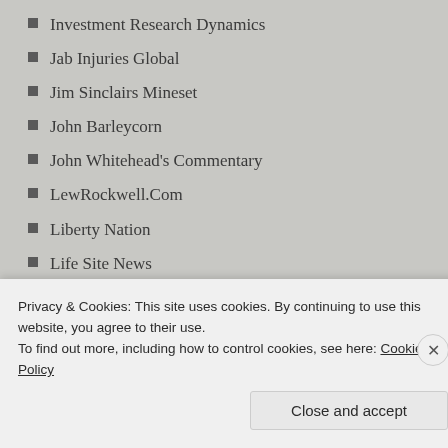Investment Research Dynamics
Jab Injuries Global
Jim Sinclairs Mineset
John Barleycorn
John Whitehead's Commentary
LewRockwell.Com
Liberty Nation
Life Site News
Living Life in Rural Iowa
Margaret Anna Alice Through the Looking Glass
Mass Private!
Privacy & Cookies: This site uses cookies. By continuing to use this website, you agree to their use. To find out more, including how to control cookies, see here: Cookie Policy
Close and accept